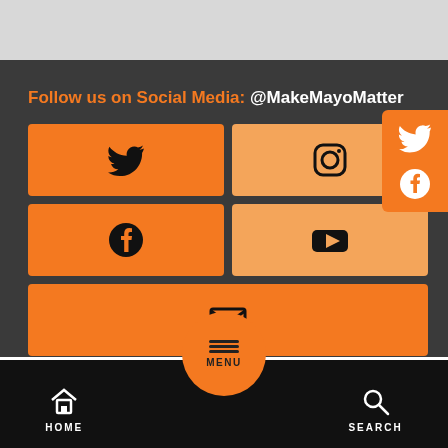Follow us on Social Media: @MakeMayoMatter
[Figure (infographic): Social media buttons grid: Twitter, Instagram, Facebook, YouTube, Email (envelope), arranged in a 2x2 grid plus one full-width row, with orange and light-orange backgrounds on dark grey.]
[Figure (infographic): Right-side popup showing Twitter bird and Facebook icons in orange panel.]
HOME   MENU   SEARCH